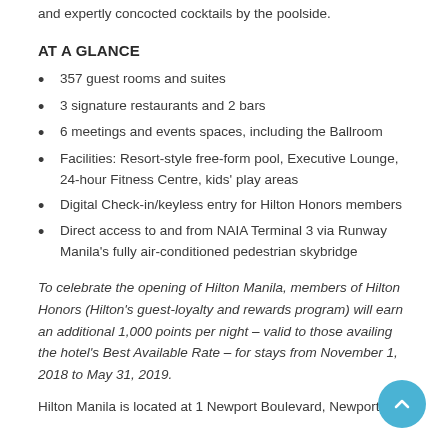and expertly concocted cocktails by the poolside.
AT A GLANCE
357 guest rooms and suites
3 signature restaurants and 2 bars
6 meetings and events spaces, including the Ballroom
Facilities: Resort-style free-form pool, Executive Lounge, 24-hour Fitness Centre, kids' play areas
Digital Check-in/keyless entry for Hilton Honors members
Direct access to and from NAIA Terminal 3 via Runway Manila's fully air-conditioned pedestrian skybridge
To celebrate the opening of Hilton Manila, members of Hilton Honors (Hilton's guest-loyalty and rewards program) will earn an additional 1,000 points per night – valid to those availing the hotel's Best Available Rate – for stays from November 1, 2018 to May 31, 2019.
Hilton Manila is located at 1 Newport Boulevard, Newport City,